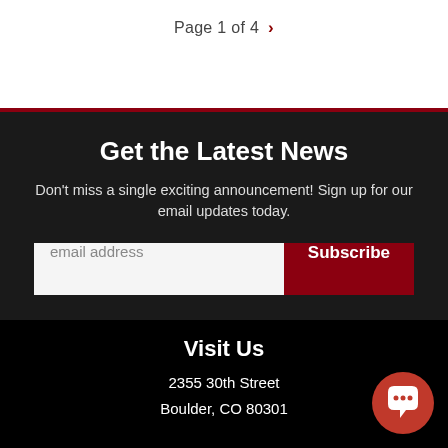Page 1 of 4 >
Get the Latest News
Don't miss a single exciting announcement! Sign up for our email updates today.
email address  Subscribe
Visit Us
2355 30th Street
Boulder, CO 80301